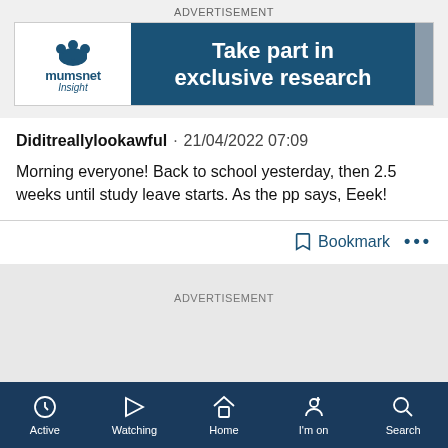ADVERTISEMENT
[Figure (illustration): Mumsnet Insight advertisement banner with logo on left and 'Take part in exclusive research' text on blue background]
Diditreallylookawful · 21/04/2022 07:09
Morning everyone! Back to school yesterday, then 2.5 weeks until study leave starts. As the pp says, Eeek!
Bookmark ···
ADVERTISEMENT
Active  Watching  Home  I'm on  Search